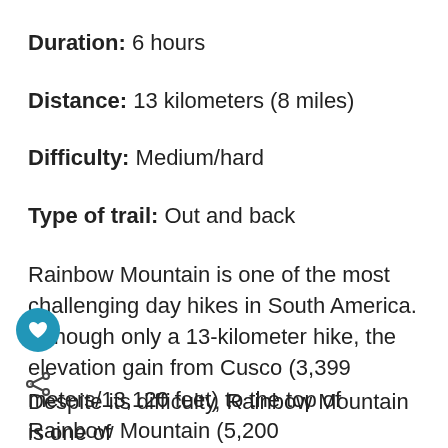Duration: 6 hours
Distance: 13 kilometers (8 miles)
Difficulty: Medium/hard
Type of trail: Out and back
Rainbow Mountain is one of the most challenging day hikes in South America. Although only a 13-kilometer hike, the elevation gain from Cusco (3,399 meters/13,120 feet) to the top of Rainbow Mountain (5,200 meters/17,060 feet) gives most people altitude sickness.
Despite its difficulty, Rainbow Mountain is one of